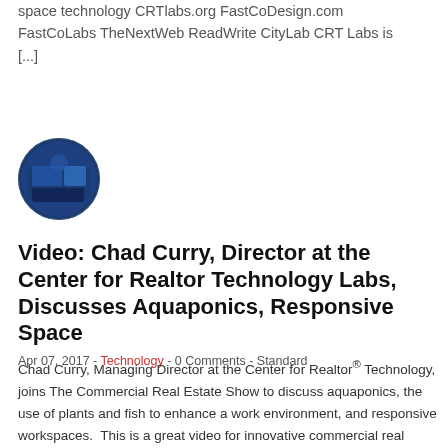space technology CRTlabs.org FastCoDesign.com FastCoLabs TheNextWeb ReadWrite CityLab CRT Labs is [...]
[Figure (photo): Circular avatar image showing a person or logo with blue tones, resembling a profile photo]
Video: Chad Curry, Director at the Center for Realtor Technology Labs, Discusses Aquaponics, Responsive Space
Apr 07, 2017 - Technology - 0 Comments - Standard
Chad Curry, Managing Director at the Center for Realtor® Technology, joins The Commercial Real Estate Show to discuss aquaponics, the use of plants and fish to enhance a work environment, and responsive workspaces.  This is a great video for innovative commercial real estate investors looking for an edge. as